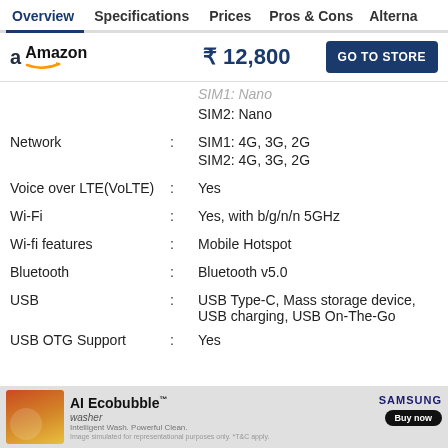Overview | Specifications | Prices | Pros & Cons | Alternatives
Amazon ₹12,800 GO TO STORE
| Feature |  | Value |
| --- | --- | --- |
|  |  | SIM1: Nano |
|  |  | SIM2: Nano |
| Network | : | SIM1: 4G, 3G, 2G
SIM2: 4G, 3G, 2G |
| Voice over LTE(VoLTE) | : | Yes |
| Wi-Fi | : | Yes, with b/g/n/n 5GHz |
| Wi-fi features | : | Mobile Hotspot |
| Bluetooth | : | Bluetooth v5.0 |
| USB | : | USB Type-C, Mass storage device, USB charging, USB On-The-Go |
| USB OTG Support | : | Yes |
[Figure (other): Samsung AI Ecobubble washer advertisement banner with Buy now button]